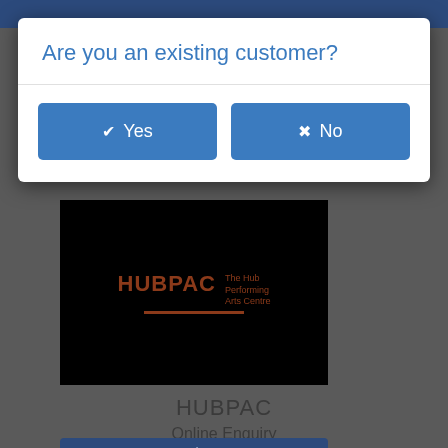[Figure (screenshot): Background page showing HUBPAC website with dark grey background, a black image placeholder containing the HUBPAC logo in brown/orange, site title HUBPAC and subtitle Online Enquiry, and a Continue button bar at the bottom.]
Are you an existing customer?
✔ Yes
✖ No